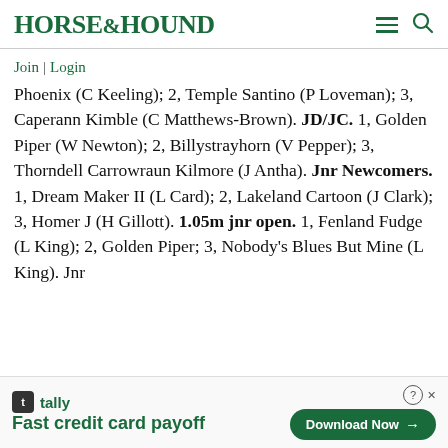HORSE&HOUND
Join | Login
Phoenix (C Keeling); 2, Temple Santino (P Loveman); 3, Caperann Kimble (C Matthews-Brown). JD/JC. 1, Golden Piper (W Newton); 2, Billystrayhorn (V Pepper); 3, Thorndell Carrowraun Kilmore (J Antha). Jnr Newcomers. 1, Dream Maker II (L Card); 2, Lakeland Cartoon (J Clark); 3, Homer J (H Gillott). 1.05m jnr open. 1, Fenland Fudge (L King); 2, Golden Piper; 3, Nobody's Blues But Mine (L King). Jnr
[Figure (other): Tally app advertisement banner: 'Fast credit card payoff' with Download Now button]